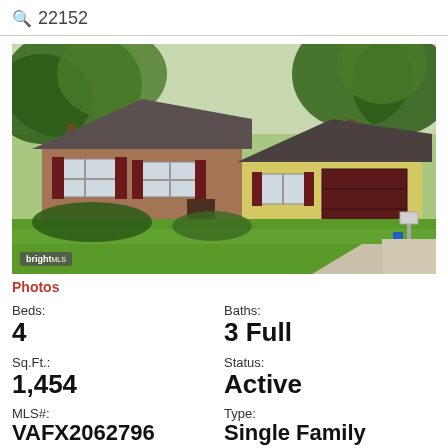22152
[Figure (photo): Exterior photo of a single-family ranch-style home with yellow siding, brick facade, dark red shutters, two-car garage, large green lawn, and trees. Bright MLS watermark in lower left.]
Photos
Beds:
4
Baths:
3 Full
Sq.Ft.:
1,454
Status:
Active
MLS#:
VAFX2062796
Type:
Single Family